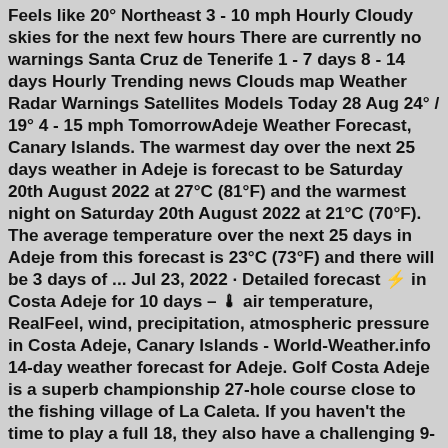Feels like 20° Northeast 3 - 10 mph Hourly Cloudy skies for the next few hours There are currently no warnings Santa Cruz de Tenerife 1 - 7 days 8 - 14 days Hourly Trending news Clouds map Weather Radar Warnings Satellites Models Today 28 Aug 24° / 19° 4 - 15 mph TomorrowAdeje Weather Forecast, Canary Islands. The warmest day over the next 25 days weather in Adeje is forecast to be Saturday 20th August 2022 at 27°C (81°F) and the warmest night on Saturday 20th August 2022 at 21°C (70°F). The average temperature over the next 25 days in Adeje from this forecast is 23°C (73°F) and there will be 3 days of ... Jul 23, 2022 · Detailed forecast ⚡ in Costa Adeje for 10 days – 🌡 air temperature, RealFeel, wind, precipitation, atmospheric pressure in Costa Adeje, Canary Islands - World-Weather.info 14-day weather forecast for Adeje. Golf Costa Adeje is a superb championship 27-hole course close to the fishing village of La Caleta. If you haven't the time to play a full 18, they also have a challenging 9-hole course.